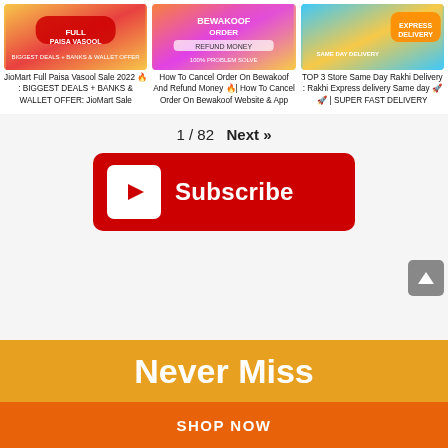[Figure (screenshot): Three video thumbnail images in a row: JioMart Full Paisa Vasool Sale 2022, How To Cancel Order On Bewakoof, TOP 3 Store Same Day Rakhi Delivery]
JioMart Full Paisa Vasool Sale 2022 🔥 : BIGGEST DEALS + BANKS & WALLET OFFER: JioMart Sale
How To Cancel Order On Bewakoof And Refund Money 🔥| How To Cancel Order On Bewakoof Website & App
TOP 3 Store Same Day Rakhi Delivery : Rakhi Express delivery Same day 🚀 🚀 | SUPER FAST DELIVERY
1 / 82  Next »
[Figure (screenshot): Red YouTube Subscribe button with white play icon and white Subscribe text]
[Figure (screenshot): Gray back-to-top arrow button]
Never Miss
SHOP NOW